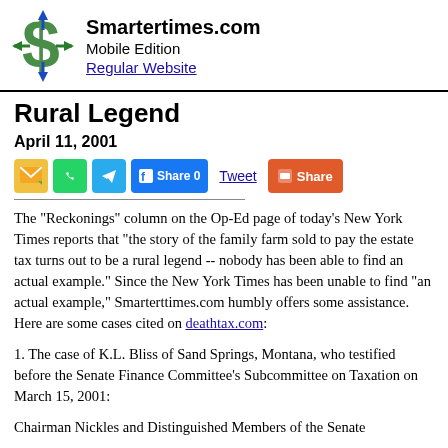Smartertimes.com Mobile Edition Regular Website
Rural Legend
April 11, 2001
[Figure (infographic): Social share buttons: email, WhatsApp, Telegram, Facebook Share 0, Tweet, Share (red button)]
The "Reckonings" column on the Op-Ed page of today's New York Times reports that "the story of the family farm sold to pay the estate tax turns out to be a rural legend -- nobody has been able to find an actual example." Since the New York Times has been unable to find "an actual example," Smarterttimes.com humbly offers some assistance. Here are some cases cited on deathtax.com:
1. The case of K.L. Bliss of Sand Springs, Montana, who testified before the Senate Finance Committee's Subcommittee on Taxation on March 15, 2001:
Chairman Nickles and Distinguished Members of the Senate